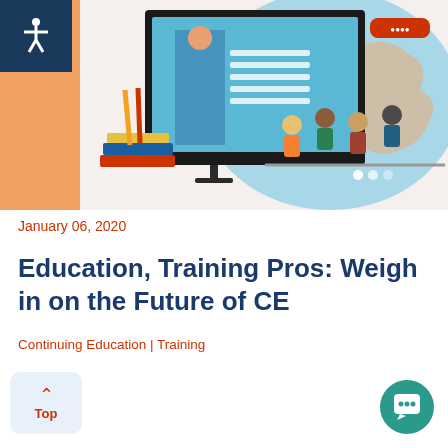[Figure (illustration): E-learning illustration showing a person at a computer monitor with educational content, books and pencils, a world map in the background, and people collaborating at desks]
January 06, 2020
Education, Training Pros: Weigh in on the Future of CE
Continuing Education | Training